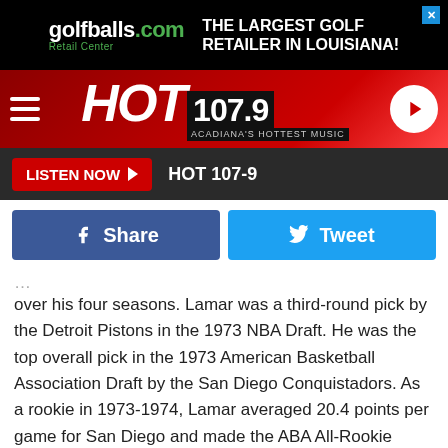[Figure (screenshot): golfballs.com advertisement banner - THE LARGEST GOLF RETAILER IN LOUISIANA!]
[Figure (logo): HOT 107.9 Acadiana's Hottest Music radio station header with hamburger menu and play button]
LISTEN NOW  HOT 107-9
Share
Tweet
over his four seasons. Lamar was a third-round pick by the Detroit Pistons in the 1973 NBA Draft. He was the top overall pick in the 1973 American Basketball Association Draft by the San Diego Conquistadors. As a rookie in 1973-1974, Lamar averaged 20.4 points per game for San Diego and made the ABA All-Rookie team, playing for Coach Wilt Chamberlain, while setting the franchise record, scoring 50 points in one game. Lamar averaged 20.9 points per game in 1974-1975, being reunited with his college coach Bo...